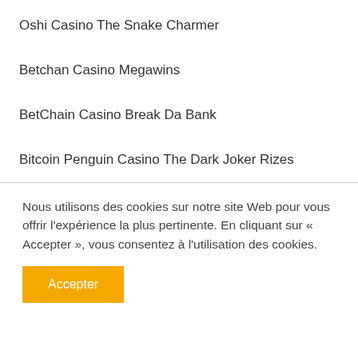Oshi Casino The Snake Charmer
Betchan Casino Megawins
BetChain Casino Break Da Bank
Bitcoin Penguin Casino The Dark Joker Rizes
Nous utilisons des cookies sur notre site Web pour vous offrir l'expérience la plus pertinente. En cliquant sur « Accepter », vous consentez à l'utilisation des cookies.